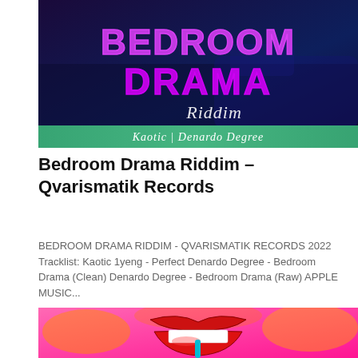[Figure (illustration): Album cover for Bedroom Drama Riddim by Qvarismatik Records. Dark blue/purple background showing a bedroom scene with large neon pink text 'BEDROOM DRAMA' and stylized script 'Riddim' below. A green banner at the bottom reads 'Kaotic | Denardo Degree'.]
Bedroom Drama Riddim – Qvarismatik Records
BEDROOM DRAMA RIDDIM - QVARISMATIK RECORDS 2022
Tracklist: Kaotic 1yeng - Perfect Denardo Degree - Bedroom Drama (Clean) Denardo Degree - Bedroom Drama (Raw) APPLE MUSIC...
[Figure (illustration): Colorful illustration featuring a comic-style close-up of red glossy lips biting on something, against a hot pink background with orange flame-like swirls.]